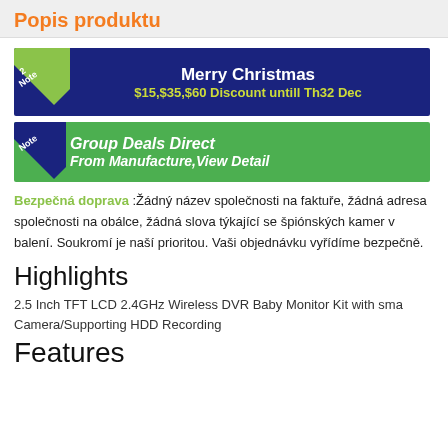Popis produktu
[Figure (infographic): Dark blue banner with green corner 'Note' label. Text: Merry Christmas $15,$35,$60 Discount untill Th32 Dec]
[Figure (infographic): Green banner with dark blue corner 'Note' label. Text: Group Deals Direct From Manufacture,View Detail]
Bezpečná doprava :Žádný název společnosti na faktuře, žádná adresa společnosti na obálce, žádná slova týkající se špiónských kamer v balení. Soukromí je naší prioritou. Vaši objednávku vyřídíme bezpečně.
Highlights
2.5 Inch TFT LCD 2.4GHz Wireless DVR Baby Monitor Kit with sma Camera/Supporting HDD Recording
Features